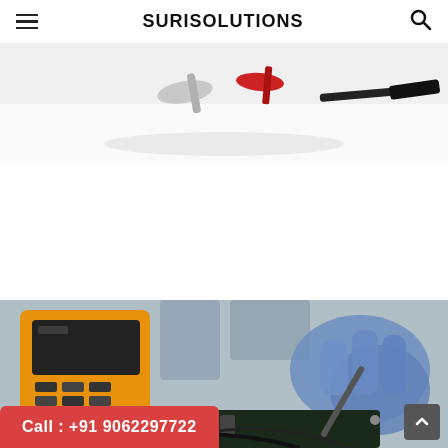SURISOLUTIONS
[Figure (photo): Partial view of electronic repair tools/components on a white background, seen from above.]
LG LED TV service center in Tollygunge
Aug 19, 2020
Are you searching for the best quality LCD and LED TV repairing centre in Tollygunge?...
[Figure (photo): A technician in blue gloves working on electronic components next to a yellow multimeter, performing repair work.]
Call : +91 9062297722